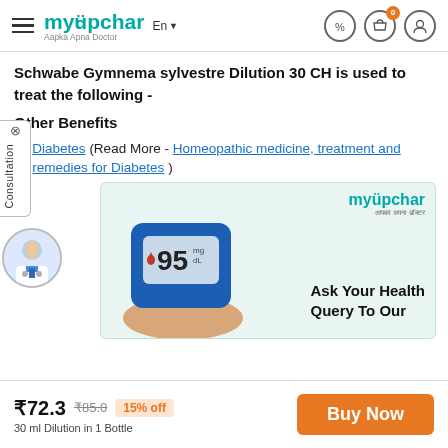myUpchar — Aapka Apna Doctor
Schwabe Gymnema sylvestre Dilution 30 CH is used to treat the following -
Other Benefits
Diabetes (Read More - Homeopathic medicine, treatment and remedies for Diabetes)
Snake Bite
Tumour
[Figure (screenshot): myUpchar advertisement banner showing a glucometer reading 95 mg/dL with text 'Ask Your Health Query To Our']
₹72.3 ₹85.0 15% off
30 ml Dilution in 1 Bottle